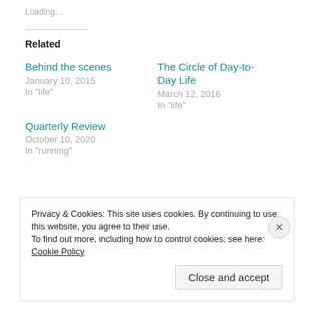Loading…
Related
Behind the scenes
January 10, 2015
In "life"
The Circle of Day-to-Day Life
March 12, 2016
In "life"
Quarterly Review
October 10, 2020
In "running"
Privacy & Cookies: This site uses cookies. By continuing to use this website, you agree to their use.
To find out more, including how to control cookies, see here: Cookie Policy
Close and accept